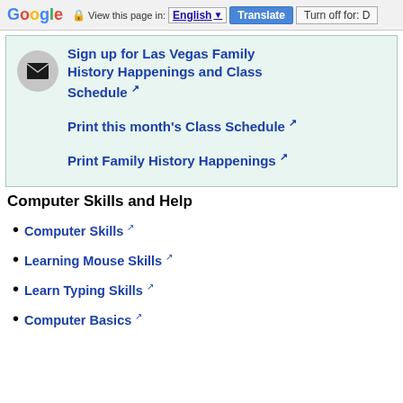Google | View this page in: English | Translate | Turn off for: D
Sign up for Las Vegas Family History Happenings and Class Schedule [external link]
Print this month's Class Schedule [external link]
Print Family History Happenings [external link]
Computer Skills and Help
Computer Skills [external link]
Learning Mouse Skills [external link]
Learn Typing Skills [external link]
Computer Basics [external link]